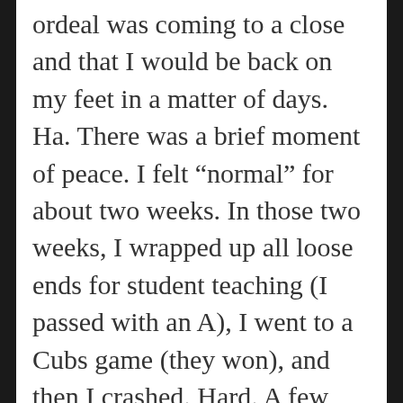ordeal was coming to a close and that I would be back on my feet in a matter of days. Ha. There was a brief moment of peace. I felt “normal” for about two weeks. In those two weeks, I wrapped up all loose ends for student teaching (I passed with an A), I went to a Cubs game (they won), and then I crashed. Hard. A few days into the third week of feeling “normal” again, I began to notice the same butt pain starting to creep back into focus. I felt it, I could tell something wasn’t right, but it wasn’t severe so I tried to ignore it